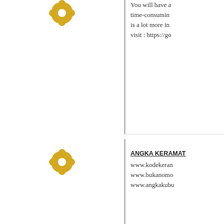You will have a time-consuming is a lot more in visit : https://go
ANGKA KERAMAT
www.kodekeran www.bukanomo www.angkakub
COUPONS TECHI
Great stuff! this codes/active-tar read your article thank you for g people love you